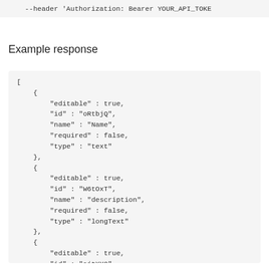--header 'Authorization: Bearer YOUR_API_TOKE
Example response
[
    {
        "editable" : true,
        "id" : "oRtbjQ",
        "name" : "Name",
        "required" : false,
        "type" : "text"
    },
    {
        "editable" : true,
        "id" : "W6tOxT",
        "name" : "description",
        "required" : false,
        "type" : "longText"
    },
    {
        "editable" : true,
        "id" : "ajtXY9",
        "name" : "count",